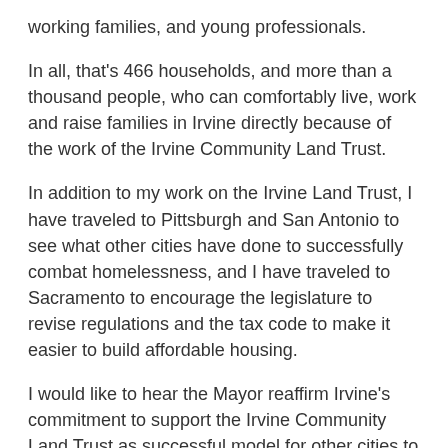working families, and young professionals.
In all, that's 466 households, and more than a thousand people, who can comfortably live, work and raise families in Irvine directly because of the work of the Irvine Community Land Trust.
In addition to my work on the Irvine Land Trust, I have traveled to Pittsburgh and San Antonio to see what other cities have done to successfully combat homelessness, and I have traveled to Sacramento to encourage the legislature to revise regulations and the tax code to make it easier to build affordable housing.
I would like to hear the Mayor reaffirm Irvine's commitment to support the Irvine Community Land Trust as successful model for other cities to emulate in providing housing for diverse income levels.
I would also like to hear the Mayor present his vision for alleviating the homelessness crisis, and especially what role he